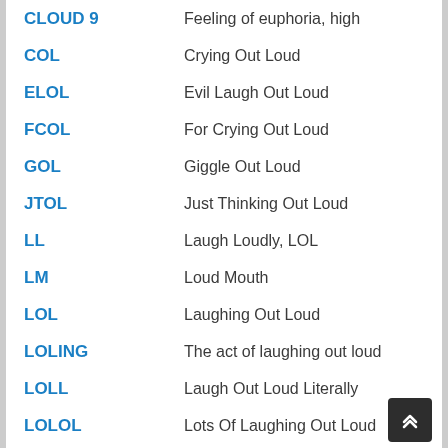CLOUD 9 — Feeling of euphoria, high
COL — Crying Out Loud
ELOL — Evil Laugh Out Loud
FCOL — For Crying Out Loud
GOL — Giggle Out Loud
JTOL — Just Thinking Out Loud
LL — Laugh Loudly, LOL
LM — Loud Mouth
LOL — Laughing Out Loud
LOLING — The act of laughing out loud
LOLL — Laugh Out Loud Literally
LOLOL — Lots Of Laughing Out Loud